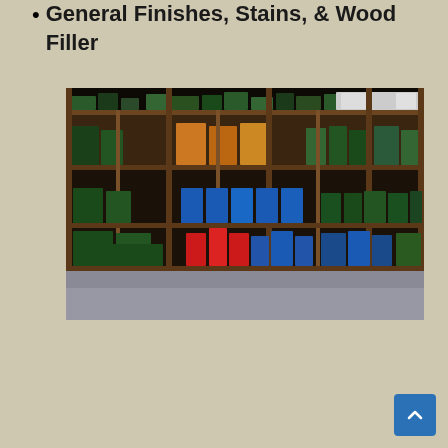General Finishes, Stains, & Wood Filler
[Figure (photo): Warehouse shelving unit filled with various products including blue, red, and green containers and boxes arranged on multiple wooden shelf levels. The shelves are floor-to-ceiling wooden warehouse racking in a large storage facility.]